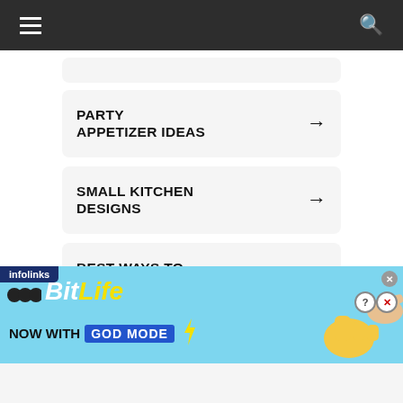Navigation bar with hamburger menu and search icon
PARTY APPETIZER IDEAS →
SMALL KITCHEN DESIGNS →
BEST WAYS TO INVEST IN GOLD →
[Figure (screenshot): BitLife advertisement banner with 'NOW WITH GOD MODE' text, hand illustrations, and infolinks badge]